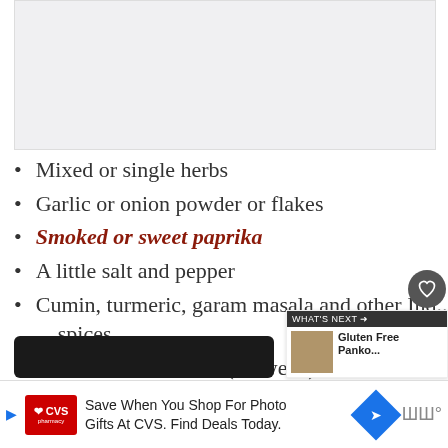[Figure (photo): Gray placeholder image area at top of page]
Mixed or single herbs
Garlic or onion powder or flakes
Smoked or sweet paprika
A little salt and pepper
Cumin, turmeric, garam masala and other Indian spices
Smoked salt or dulse (seaweed).
[Figure (screenshot): What's Next panel showing Gluten Free Panko... with thumbnail]
[Figure (screenshot): Advertisement banner: CVS pharmacy - Save When You Shop For Photo Gifts At CVS. Find Deals Today.]